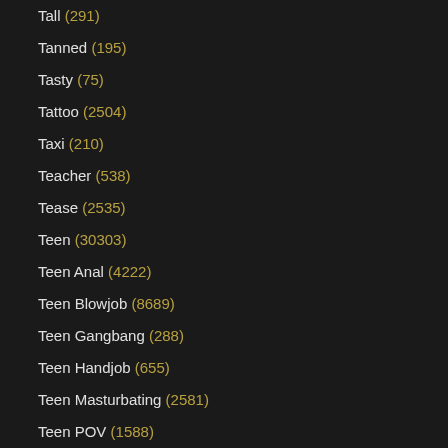Tall (291)
Tanned (195)
Tasty (75)
Tattoo (2504)
Taxi (210)
Teacher (538)
Tease (2535)
Teen (30303)
Teen Anal (4222)
Teen Blowjob (8689)
Teen Gangbang (288)
Teen Handjob (655)
Teen Masturbating (2581)
Teen POV (1588)
Teen Shemale (328)
Tennis (25)